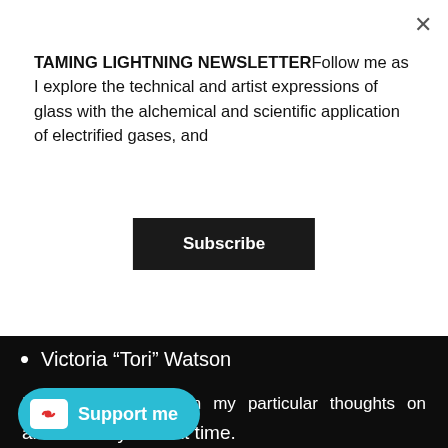TAMING LIGHTNING NEWSLETTERFollow me as I explore the technical and artist expressions of glass with the alchemical and scientific application of electrified gases, and
Subscribe
Victoria “Tori” Watson
If you're interested in my particular thoughts on something, please ask, I'll even see if I can discuss that question with someone more experienced so we can get a well rounded answer.
As always, Be safe, be healthy, and be strong,
and I'll see you next time.